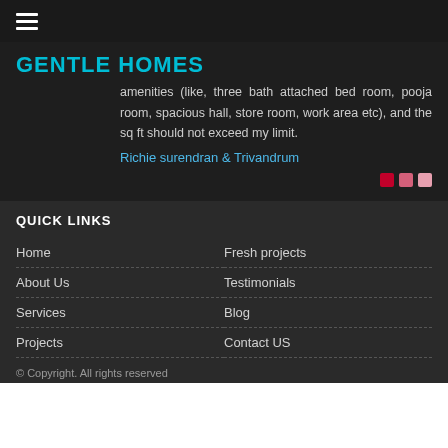☰ (hamburger menu icon)
GENTLE HOMES
amenities (like, three bath attached bed room, pooja room, spacious hall, store room, work area etc), and the sq ft should not exceed my limit.
Richie surendran & Trivandrum
QUICK LINKS
Home
About Us
Services
Projects
Fresh projects
Testimonials
Blog
Contact US
© Copyright. All rights reserved